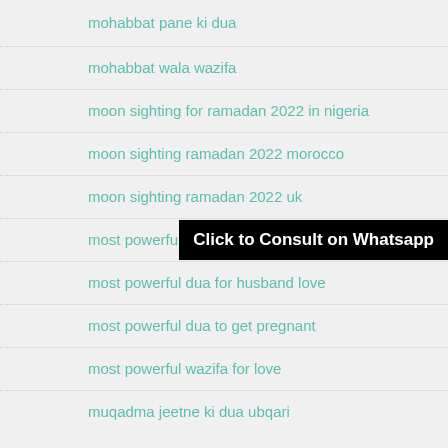mohabbat pane ki dua
mohabbat wala wazifa
moon sighting for ramadan 2022 in nigeria
moon sighting ramadan 2022 morocco
moon sighting ramadan 2022 uk
most powerful dua for dis…
most powerful dua for husband love
most powerful dua to get pregnant
most powerful wazifa for love
muqadma jeetne ki dua ubqari